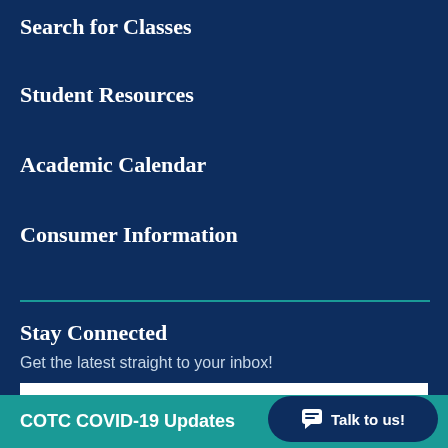Search for Classes
Student Resources
Academic Calendar
Consumer Information
Stay Connected
Get the latest straight to your inbox!
Your Name
COTC COVID-19 Updates
Talk to us!